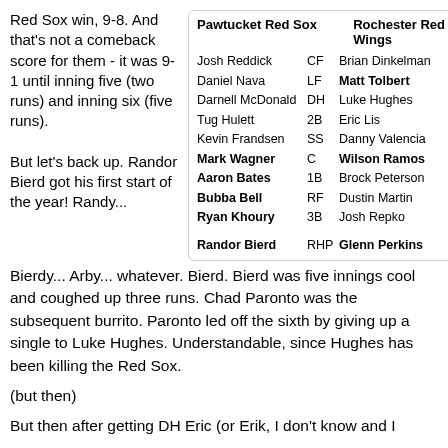Red Sox win, 9-8. And that's not a comeback score for them - it was 9-1 until inning five (two runs) and inning six (five runs).
| Pawtucket Red Sox |  | Rochester Red Wings |  |
| --- | --- | --- | --- |
| Josh Reddick | CF | Brian Dinkelman | LF |
| Daniel Nava | LF | Matt Tolbert | SS |
| Darnell McDonald | DH | Luke Hughes | 2B |
| Tug Hulett | 2B | Eric Lis | DH |
| Kevin Frandsen | SS | Danny Valencia | 3B |
| Mark Wagner | C | Wilson Ramos | C |
| Aaron Bates | 1B | Brock Peterson | 1B |
| Bubba Bell | RF | Dustin Martin | RF |
| Ryan Khoury | 3B | Josh Repko | CF |
|  |  |  |  |
| Randor Bierd | RHP | Glenn Perkins | LHP |
But let's back up. Randor Bierd got his first start of the year! Randy...
Bierdy... Arby... whatever. Bierd. Bierd was five innings cool and coughed up three runs. Chad Paronto was the subsequent burrito. Paronto led off the sixth by giving up a single to Luke Hughes. Understandable, since Hughes has been killing the Red Sox.
(but then)
But then after getting DH Eric (or Erik, I don't know and I